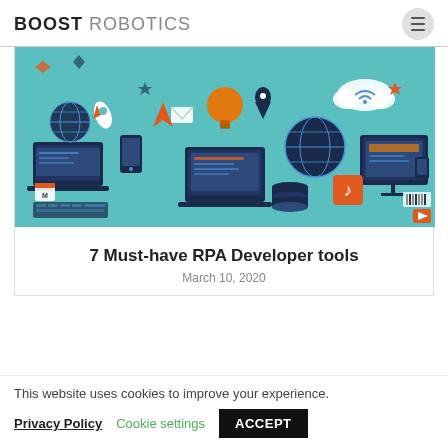BOOST ROBOTICS
[Figure (illustration): Technology and digital services flat design illustration with icons for devices, communication, web, cloud, music, robotics on a teal background]
7 Must-have RPA Developer tools
March 10, 2020
This website uses cookies to improve your experience.
Privacy Policy   Cookie settings   ACCEPT